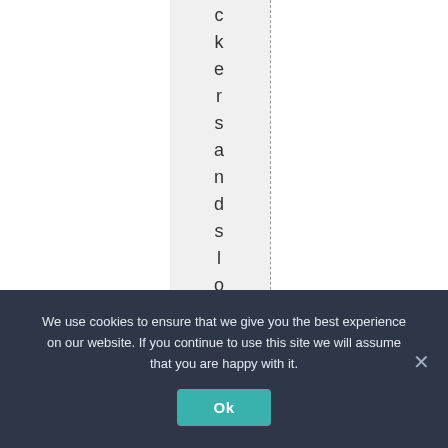[Figure (other): A table or document layout with dashed vertical column dividers. The center column has a light gray background and displays vertical text reading 'ckersandslogansme a' one character per line.]
We use cookies to ensure that we give you the best experience on our website. If you continue to use this site we will assume that you are happy with it.